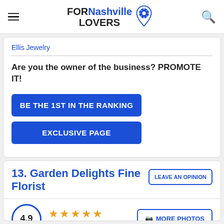FORNashville LOVERS
Ellis Jewelry
Are you the owner of the business? PROMOTE IT!
BE THE 1ST IN THE RANKING
EXCLUSIVE PAGE
13. Garden Delights Fine Florist
LEAVE AN OPINION
4.9  65 reviews  MORE PHOTOS